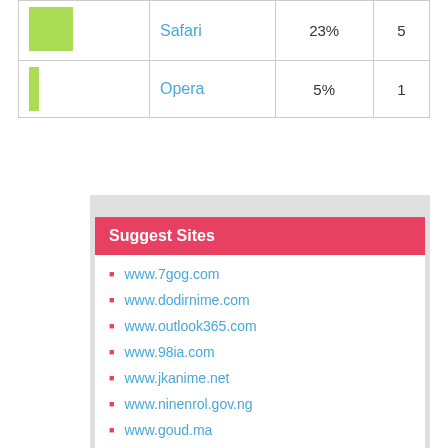|  |  |  |  |
| --- | --- | --- | --- |
| [green square] | Safari | 23% | 5 |
| [green bar] | Opera | 5% | 1 |
Suggest Sites
www.7gog.com
www.dodirnime.com
www.outlook365.com
www.98ia.com
www.jkanime.net
www.ninenrol.gov.ng
www.goud.ma
www.anquye.org
www.cheeseanything.com